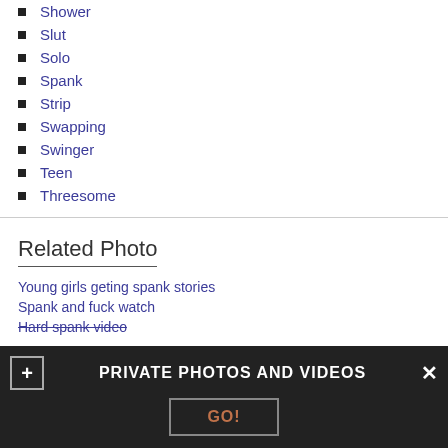Shower
Slut
Solo
Spank
Strip
Swapping
Swinger
Teen
Threesome
Related Photo
Young girls geting spank stories
Spank and fuck watch
Hard spank video
PRIVATE PHOTOS AND VIDEOS
GO!